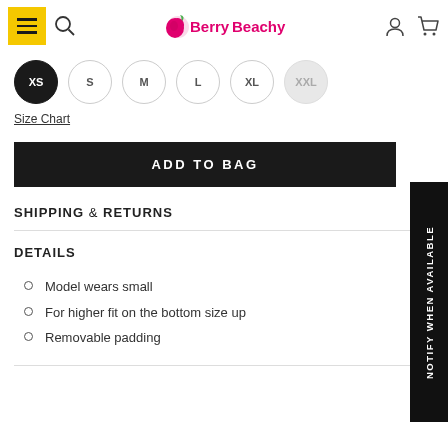Berry Beachy
[Figure (other): Size selector circles: XS (selected/black), S, M, L, XL, XXL (greyed out/unavailable)]
Size Chart
ADD TO BAG
SHIPPING & RETURNS
DETAILS
Model wears small
For higher fit on the bottom size up
Removable padding
[Figure (other): Vertical sidebar button: NOTIFY WHEN AVAILABLE, black background, white text, rotated 90 degrees]